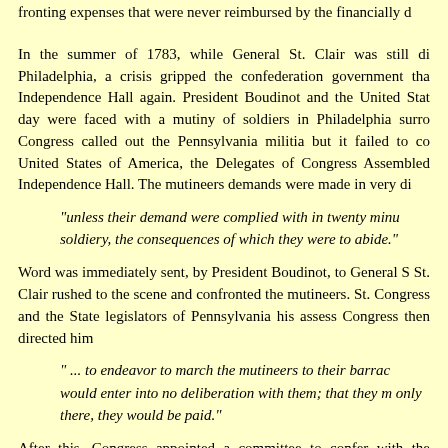fronting expenses that were never reimbursed by the financially d
In the summer of 1783, while General St. Clair was still di Philadelphia, a crisis gripped the confederation government tha Independence Hall again. President Boudinot and the United Stat day were faced with a mutiny of soldiers in Philadelphia surro Congress called out the Pennsylvania militia but it failed to co United States of America, the Delegates of Congress Assembled Independence Hall. The mutineers demands were made in very di
"unless their demand were complied with in twenty minu soldiery, the consequences of which they were to abide."
Word was immediately sent, by President Boudinot, to General S St. Clair rushed to the scene and confronted the mutineers. St. Congress and the State legislators of Pennsylvania his assess Congress then directed him
" ... to endeavor to march the mutineers to their barrac would enter into no deliberation with them; that they m only there, they would be paid."
After this, Congress appointed a committee to confer with the awaiting St. Clair's signal that it was safe to evacuate the buil Congress report on Saturday, June 21, 1783: